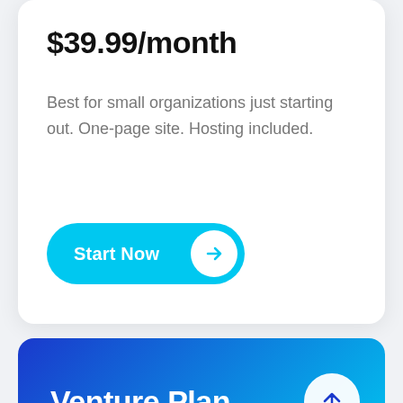$39.99/month
Best for small organizations just starting out. One-page site. Hosting included.
Start Now
Venture Plan